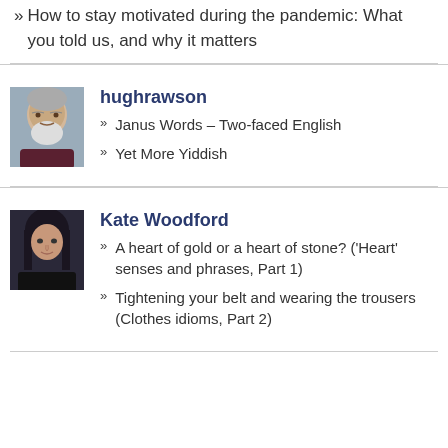» How to stay motivated during the pandemic: What you told us, and why it matters
hughrawson
» Janus Words – Two-faced English
» Yet More Yiddish
Kate Woodford
» A heart of gold or a heart of stone? ('Heart' senses and phrases, Part 1)
» Tightening your belt and wearing the trousers (Clothes idioms, Part 2)